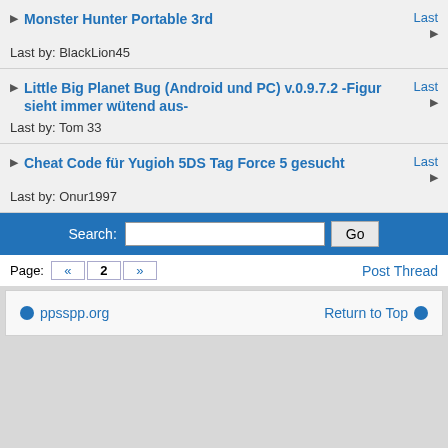Monster Hunter Portable 3rd — Last by: BlackLion45
Little Big Planet Bug (Android und PC) v.0.9.7.2 -Figur sieht immer wütend aus- — Last by: Tom 33
Cheat Code für Yugioh 5DS Tag Force 5 gesucht — Last by: Onur1997
Search: [input] Go
Page: « 2 »  Post Thread
ppsspp.org    Return to Top